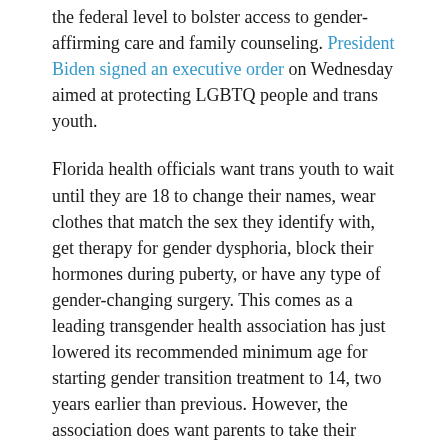the federal level to bolster access to gender-affirming care and family counseling. President Biden signed an executive order on Wednesday aimed at protecting LGBTQ people and trans youth.
Florida health officials want trans youth to wait until they are 18 to change their names, wear clothes that match the sex they identify with, get therapy for gender dysphoria, block their hormones during puberty, or have any type of gender-changing surgery. This comes as a leading transgender health association has just lowered its recommended minimum age for starting gender transition treatment to 14, two years earlier than previous. However, the association does want parents to take their child's emotional maturity into consideration and have a psychological evaluation.
Jeanette Jennings says the state's move to ban gender transition health care until a child reaches 18 would cause harm.
Young people need puberty blockers to delay unwanted changes before they're ready to decide with their own...